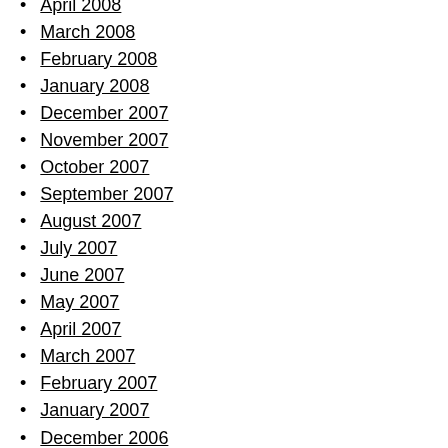April 2008
March 2008
February 2008
January 2008
December 2007
November 2007
October 2007
September 2007
August 2007
July 2007
June 2007
May 2007
April 2007
March 2007
February 2007
January 2007
December 2006
November 2006
October 2006
September 2006
August 2006
July 2006